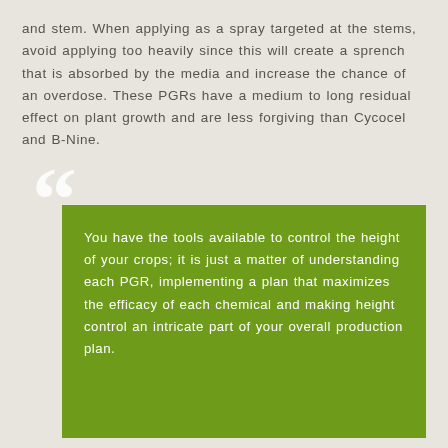and stem. When applying as a spray targeted at the stems, avoid applying too heavily since this will create a sprench that is absorbed by the media and increase the chance of an overdose. These PGRs have a medium to long residual effect on plant growth and are less forgiving than Cycocel and B-Nine.
You have the tools available to control the height of your crops; it is just a matter of understanding each PGR, implementing a plan that maximizes the efficacy of each chemical and making height control an intricate part of your overall production plan.